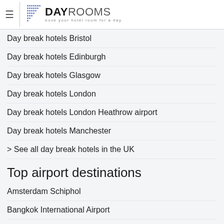DAYROOMS – book your hotel room for a day
Day break hotels Bristol
Day break hotels Edinburgh
Day break hotels Glasgow
Day break hotels London
Day break hotels London Heathrow airport
Day break hotels Manchester
> See all day break hotels in the UK
Top airport destinations
Amsterdam Schiphol
Bangkok International Airport
Dubai international Airport
Dublin Airport
Frankfurt Rhein Main Airport